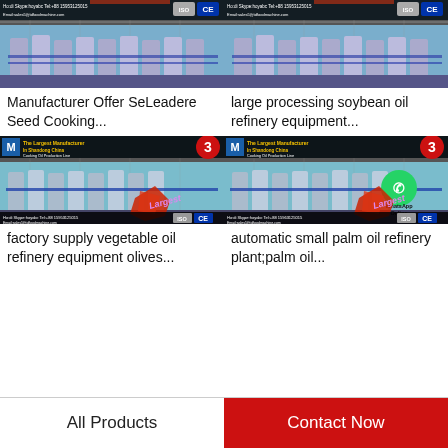[Figure (photo): Product listing image for Manufacturer Offer SeLeadere Seed Cooking Oil refinery equipment with ISO CE certification banner]
Manufacturer Offer SeLeadere Seed Cooking...
[Figure (photo): Product listing image for large processing soybean oil refinery equipment with ISO CE certification banner]
large processing soybean oil refinery equipment...
[Figure (photo): Factory supply vegetable oil refinery equipment with Largest Manufacturer in Shandong China banner, number 3 badge, cooking oil production line]
factory supply vegetable oil refinery equipment olives...
[Figure (photo): Automatic small palm oil refinery plant with WhatsApp Online overlay, Largest Manufacturer in Shandong China banner, number 3 badge]
automatic small palm oil refinery plant;palm oil...
All Products
Contact Now